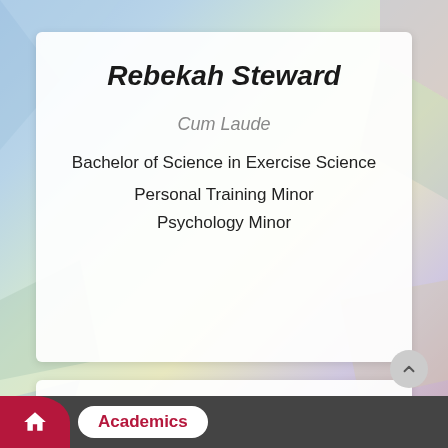Rebekah Steward
Cum Laude
Bachelor of Science in Exercise Science
Personal Training Minor
Psychology Minor
Katrina Tao
Academics